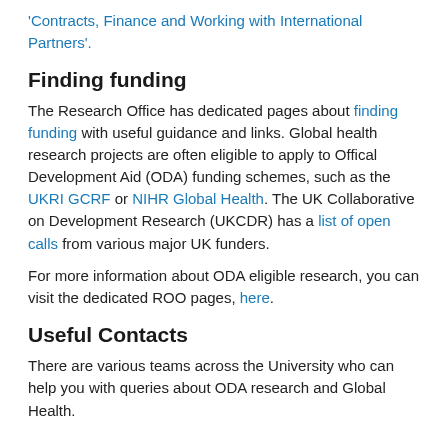'Contracts, Finance and Working with International Partners'.
Finding funding
The Research Office has dedicated pages about finding funding with useful guidance and links. Global health research projects are often eligible to apply to Offical Development Aid (ODA) funding schemes, such as the UKRI GCRF or NIHR Global Health. The UK Collaborative on Development Research (UKCDR) has a list of open calls from various major UK funders.
For more information about ODA eligible research, you can visit the dedicated ROO pages, here.
Useful Contacts
There are various teams across the University who can help you with queries about ODA research and Global Health.